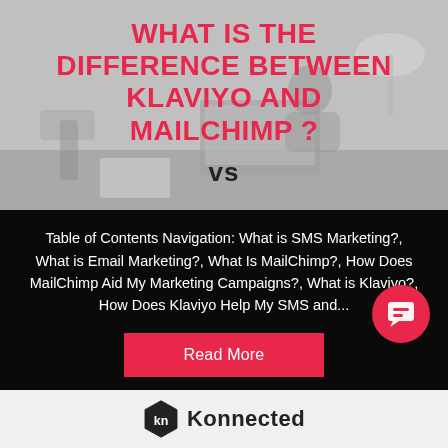[Figure (photo): Hero image of a person working at a desk with a laptop and lamp, overlaid with a dark pink/coral title text and 'vs' below, monochrome/greyscale office background]
WHAT IS THE DIFFERENCE BETWEEN KLAVIYO AND MAILCHIMP ?
vs
Table of Contents Navigation: What is SMS Marketing?, What is Email Marketing?, What Is MailChimp?, How Does MailChimp Aid My Marketing Campaigns?, What is Klaviyo?, How Does Klaviyo Help My SMS and...
Read More
[Figure (logo): Konnected logo with hexagon icon and company name text]